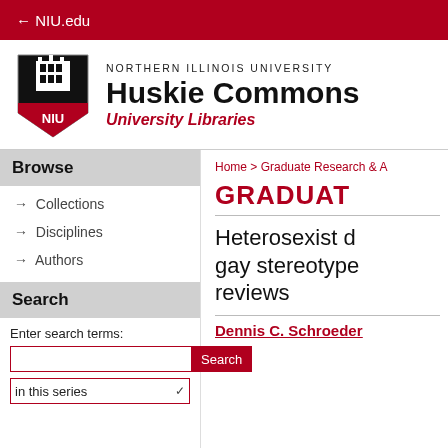← NIU.edu
[Figure (logo): NIU shield logo with building illustration and red NIU wordmark]
NORTHERN ILLINOIS UNIVERSITY Huskie Commons University Libraries
Home > Graduate Research & A
Browse
→ Collections
→ Disciplines
→ Authors
Search
Enter search terms:
in this series
GRADUAT
Heterosexist d gay stereotype reviews
Dennis C. Schroeder